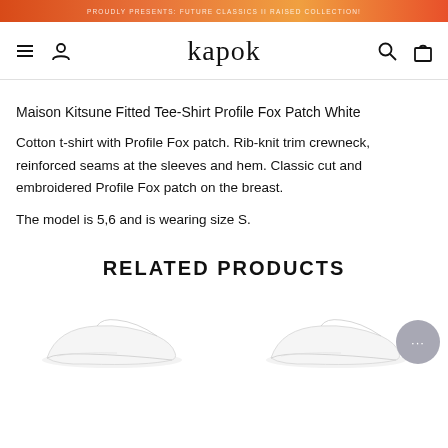PROUDLY PRESENTS: FUTURE CLASSICS II RAISED COLLECTION!
[Figure (screenshot): Kapok logo navigation bar with hamburger menu, user icon, search icon, and bag icon]
Maison Kitsune Fitted Tee-Shirt Profile Fox Patch White
Cotton t-shirt with Profile Fox patch. Rib-knit trim crewneck, reinforced seams at the sleeves and hem. Classic cut and embroidered Profile Fox patch on the breast.
The model is 5,6 and is wearing size S.
RELATED PRODUCTS
[Figure (photo): Two white sneakers displayed at the bottom of the page]